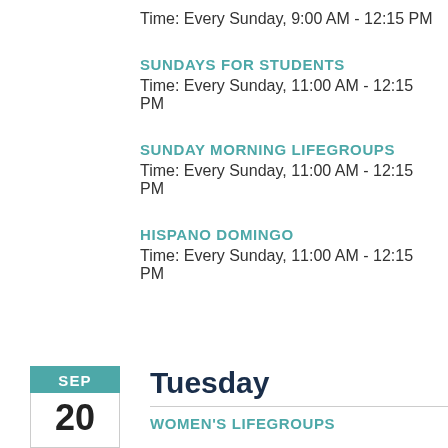Time: Every Sunday, 9:00 AM - 12:15 PM
SUNDAYS FOR STUDENTS
Time: Every Sunday, 11:00 AM - 12:15 PM
SUNDAY MORNING LIFEGROUPS
Time: Every Sunday, 11:00 AM - 12:15 PM
HISPANO DOMINGO
Time: Every Sunday, 11:00 AM - 12:15 PM
Tuesday
WOMEN'S LIFEGROUPS